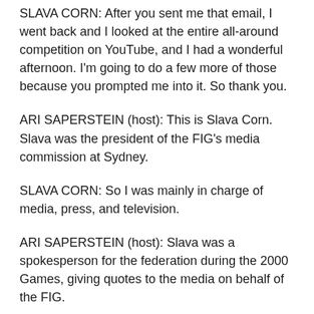SLAVA CORN: After you sent me that email, I went back and I looked at the entire all-around competition on YouTube, and I had a wonderful afternoon. I'm going to do a few more of those because you prompted me into it. So thank you.
ARI SAPERSTEIN (host): This is Slava Corn. Slava was the president of the FIG's media commission at Sydney.
SLAVA CORN: So I was mainly in charge of media, press, and television.
ARI SAPERSTEIN (host): Slava was a spokesperson for the federation during the 2000 Games, giving quotes to the media on behalf of the FIG.
ARI SAPERSTEIN (host): [IN INTERVIEW] Hi, Kym?